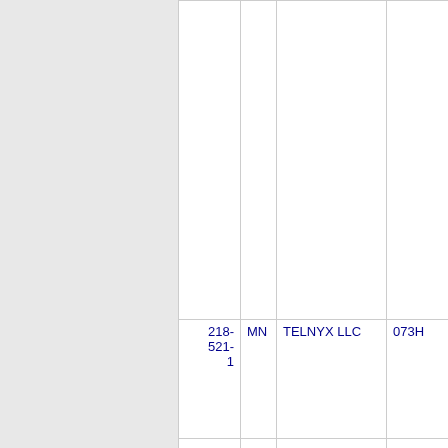| NPA-NXX | State | Company | OCN |
| --- | --- | --- | --- |
| 218-521-1 | MN | TELNYX LLC | 073H |